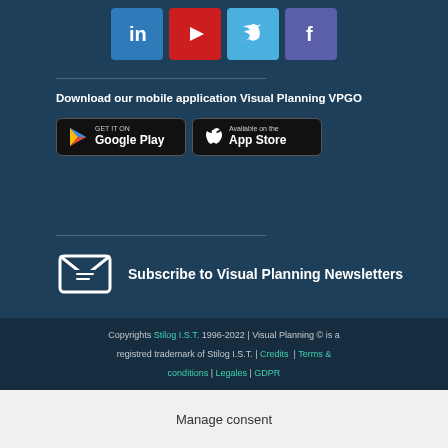[Figure (infographic): Social media icons: LinkedIn (blue), YouTube (red), Twitter (light blue), Facebook (purple)]
Download our mobile application Visual Planning VPGO
[Figure (infographic): Google Play and App Store download buttons]
Subscribe to Visual Planning Newsletters
Copyrights Stilog I.S.T. 1996-2022 | Visual Planning © is a registred trademark of Stilog I.S.T. | Credits | Terms & conditions | Legales | GDPR
Manage consent